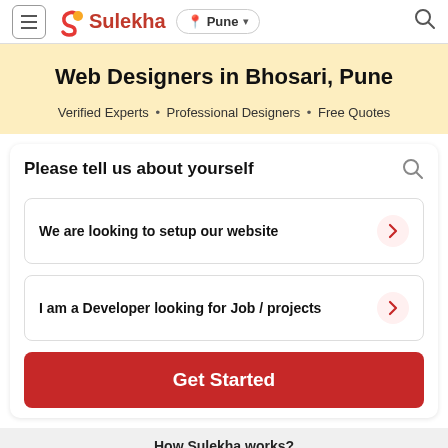Sulekha — Pune
Web Designers in Bhosari, Pune
Verified Experts • Professional Designers • Free Quotes
Please tell us about yourself
We are looking to setup our website
I am a Developer looking for Job / projects
Get Started
How Sulekha works?
1  2  3